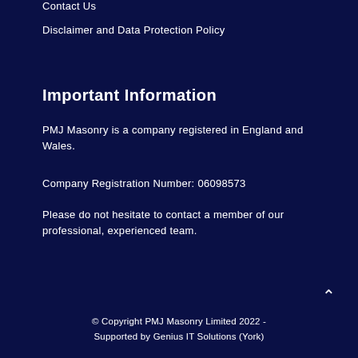Contact Us
Disclaimer and Data Protection Policy
Important Information
PMJ Masonry is a company registered in England and Wales.
Company Registration Number: 06098573
Please do not hesitate to contact a member of our professional, experienced team.
© Copyright PMJ Masonry Limited 2022 - Supported by Genius IT Solutions (York)